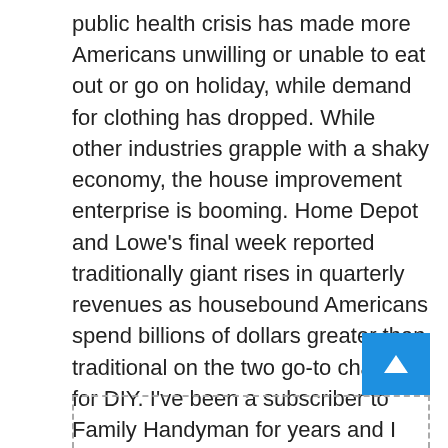public health crisis has made more Americans unwilling or unable to eat out or go on holiday, while demand for clothing has dropped. While other industries grapple with a shaky economy, the house improvement enterprise is booming. Home Depot and Lowe's final week reported traditionally giant rises in quarterly revenues as housebound Americans spend billions of dollars greater than traditional on the two go-to chains for DIY. I've been a subscriber to Family Handyman for years and I advocate it to anyone who likes to do handyman jobs around the home. It additionally contains a lot of sensible advice about working with professionals similar to designers, contractors, and architects.